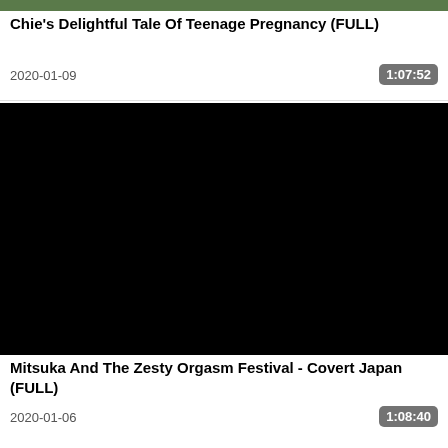[Figure (photo): Top portion of a cropped photo showing outdoor scene with greenery]
Chie's Delightful Tale Of Teenage Pregnancy (FULL)
2020-01-09
1:07:52
[Figure (photo): Black video thumbnail]
Mitsuka And The Zesty Orgasm Festival - Covert Japan (FULL)
2020-01-06
1:08:40